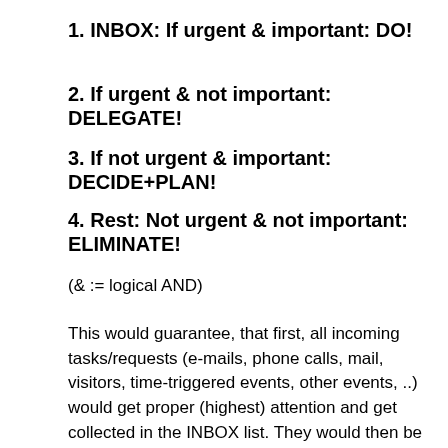1. INBOX: If urgent & important: DO!
2. If urgent & not important: DELEGATE!
3. If not urgent & important: DECIDE+PLAN!
4. Rest: Not urgent & not important: ELIMINATE!
(& := logical AND)
This would guarantee, that first, all incoming tasks/requests (e-mails, phone calls, mail, visitors, time-triggered events, other events, ..) would get proper (highest) attention and get collected in the INBOX list. They would then be triaged (qualified) and, if appropriate, distributed/moved to the other lists accordingly. If nothing else matches, they would end up in the low priority box (not urgent AND not important), i.e. the